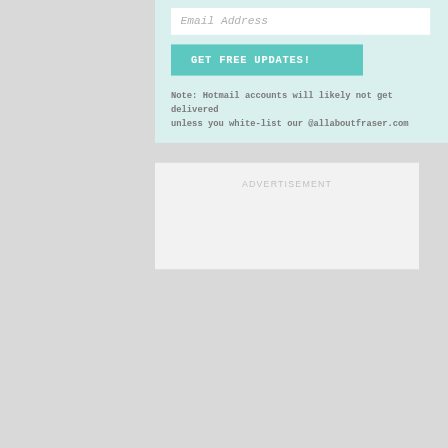Email Address
GET FREE UPDATES!
Note: Hotmail accounts will likely not get delivered unless you white-list our @allaboutfraser.com
ADVERTISEMENT